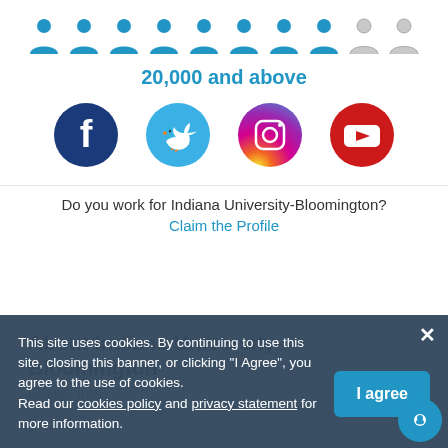[Figure (infographic): Row of 10 person/people icons: 8 filled blue and 2 outlined gray, representing enrollment category of 20,000 and above]
20,000 and above
[Figure (infographic): Four social media icons in circles: Facebook (dark blue), Twitter (light blue), Instagram (gradient purple/orange/pink), YouTube (red)]
Do you work for Indiana University-Bloomington?
Claim the Profile
About Indiana University-Bloomington
mington, IU, ... aton, Indiana. It is the flagship i... and in a... with over 40,000...
This site uses cookies. By continuing to use this site, closing this banner, or clicking "I Agree", you agree to the use of cookies.
Read our cookies policy and privacy statement for more information.
Overview